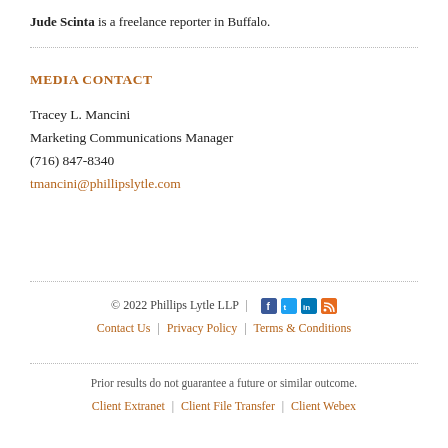Jude Scinta is a freelance reporter in Buffalo.
MEDIA CONTACT
Tracey L. Mancini
Marketing Communications Manager
(716) 847-8340
tmancini@phillipslytle.com
© 2022 Phillips Lytle LLP | Contact Us | Privacy Policy | Terms & Conditions
Prior results do not guarantee a future or similar outcome.
Client Extranet | Client File Transfer | Client Webex